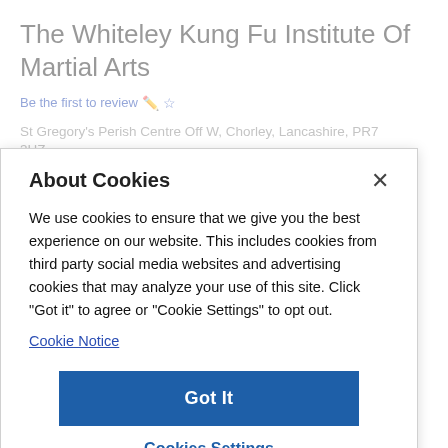The Whiteley Kung Fu Institute Of Martial Arts
Be the first to review ✏️☆
St Gregory's Perish Centre Off W, Chorley, Lancashire, PR7 3HZ
About Cookies
We use cookies to ensure that we give you the best experience on our website. This includes cookies from third party social media websites and advertising cookies that may analyze your use of this site. Click "Got it" to agree or "Cookie Settings" to opt out.
Cookie Notice
Got It
Cookies Settings